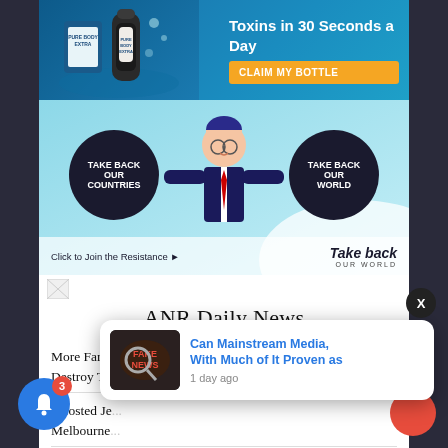[Figure (infographic): Advertisement for Pure Body Extra supplement - 'Rare Mineral Flushes Toxins in 30 Seconds a Day' with CLAIM MY BOTTLE button on blue background with product image]
[Figure (infographic): Take Back Our World advertisement with cartoon businessman holding two dark circles reading TAKE BACK OUR COUNTRIES and TAKE BACK OUR WORLD, with 'Click to Join the Resistance' text and 'Take back OUR WORLD' branding]
[Figure (logo): Small broken/loading image icon]
ANR Daily News
More Farmers Calling Out Biden Administration Attempts to Destroy Them
I Hosted Je... Melbourne...
Tucker Carlson Slams DuckDuckGo for Down-ranking Sites
[Figure (screenshot): Notification popup showing 'Can Mainstream Media, With Much of It Proven as' with 'Fake News' image thumbnail and '1 day ago' timestamp]